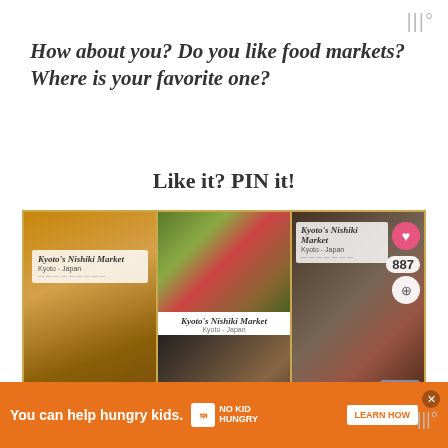|||°
How about you? Do you like food markets? Where is your favorite one?
Like it? PIN it!
[Figure (screenshot): Three Pinterest-style pin cards for 'Kyoto's Nishiki Market, Kyoto - Japan' showing food market photos including spring rolls, salad/vegetables, a market street scene, and people at the market. The third card shows a heart icon, 887 saves count, share button, and a 'What's Next' overlay with 'Learning about...' text.]
[Figure (screenshot): Orange advertisement banner: 'You can help hungry kids.' with No Kid Hungry logo and 'LEARN HOW' button]